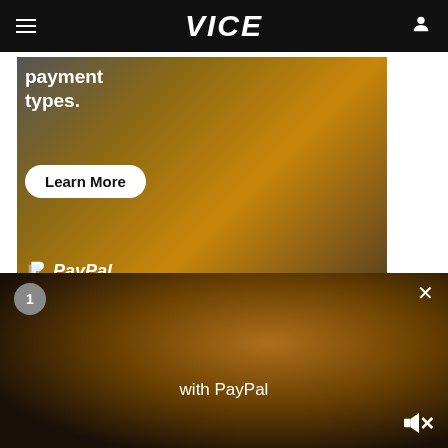VICE
[Figure (photo): PayPal advertisement showing a woman in a yellow sweater working on a laptop with text 'payment types.' and a 'Learn More' button and PayPal logo]
Despite the controversies, ICE has often referred to centers that house women as "family residential centers" or "family detention
[Figure (other): Video player overlay showing a person with hard hat, with 'with PayPal' caption, badge number 1, close button X, and mute button]